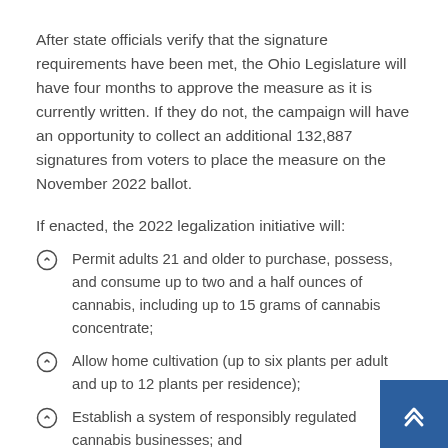After state officials verify that the signature requirements have been met, the Ohio Legislature will have four months to approve the measure as it is currently written. If they do not, the campaign will have an opportunity to collect an additional 132,887 signatures from voters to place the measure on the November 2022 ballot.
If enacted, the 2022 legalization initiative will:
Permit adults 21 and older to purchase, possess, and consume up to two and a half ounces of cannabis, including up to 15 grams of cannabis concentrate;
Allow home cultivation (up to six plants per adult and up to 12 plants per residence);
Establish a system of responsibly regulated cannabis businesses; and